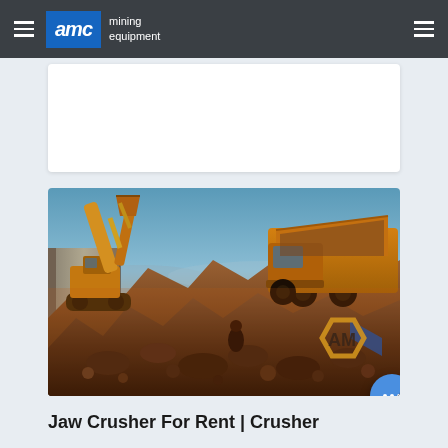AMC mining equipment
[Figure (photo): Mining site with large yellow excavator and dump truck operating among piles of rocks and ore, with a sunset sky in the background. AMC logo watermark visible in lower right corner of image.]
Jaw Crusher For Rent | Crusher